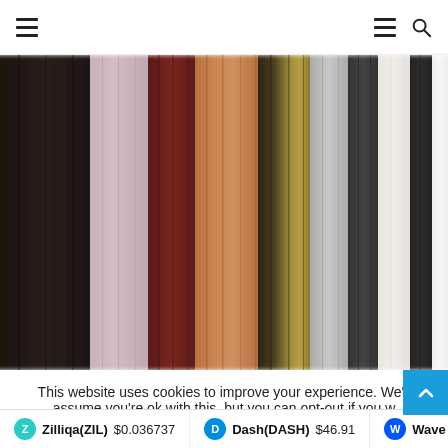Navigation header with hamburger menu icons and search icon
[Figure (photo): Vertical color stripes image showing various shades including dark brown/black, maroon/burgundy, lavender/pink, copper/orange, gold/olive, medium gray, charcoal, light gray/white, dark charcoal, and off-white — representing curtain or fabric color swatches blurred vertically]
This website uses cookies to improve your experience. We'll assume you're ok with this, but you can opt-out if you w
Zilliqa(ZIL) $0.036737  Dash(DASH) $46.91  Wave